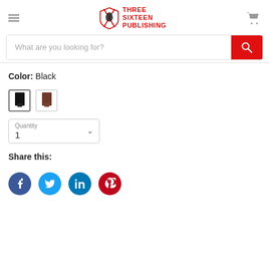[Figure (logo): Three Sixteen Publishing logo with shield icon and red text]
What are you looking for?
Color: Black
[Figure (illustration): Two color swatches: black selected, brown unselected]
Quantity
1
Share this:
[Figure (infographic): Social share icons: Facebook, Twitter, LinkedIn, Pinterest]